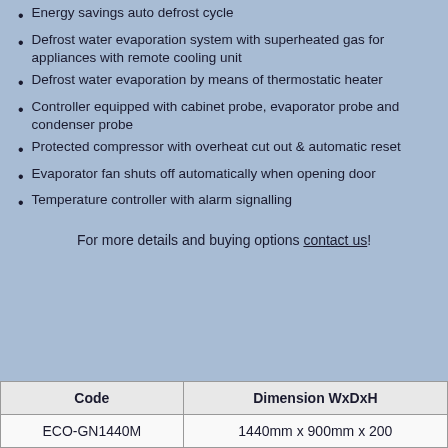Energy savings auto defrost cycle
Defrost water evaporation system with superheated gas for appliances with remote cooling unit
Defrost water evaporation by means of thermostatic heater
Controller equipped with cabinet probe, evaporator probe and condenser probe
Protected compressor with overheat cut out & automatic reset
Evaporator fan shuts off automatically when opening door
Temperature controller with alarm signalling
For more details and buying options contact us!
| Code | Dimension WxDxH |
| --- | --- |
| ECO-GN1440M | 1440mm x 900mm x 200 |